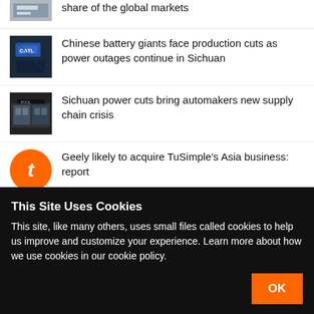share of the global markets
Chinese battery giants face production cuts as power outages continue in Sichuan
Sichuan power cuts bring automakers new supply chain crisis
Geely likely to acquire TuSimple’s Asia business: report
mobike
Sort by Relevance
This Site Uses Cookies
This site, like many others, uses small files called cookies to help us improve and customize your experience. Learn more about how we use cookies in our cookie policy.
OK